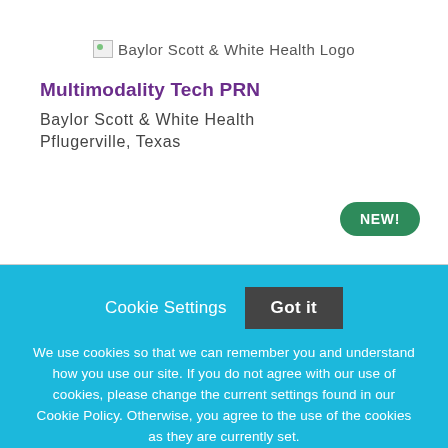[Figure (logo): Baylor Scott & White Health Logo placeholder image]
Multimodality Tech PRN
Baylor Scott & White Health
Pflugerville, Texas
[Figure (other): NEW! badge in green rounded rectangle]
Cookie Settings   Got it
We use cookies so that we can remember you and understand how you use our site. If you do not agree with our use of cookies, please change the current settings found in our Cookie Policy. Otherwise, you agree to the use of the cookies as they are currently set.